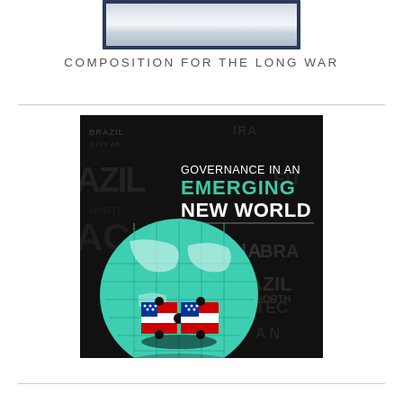[Figure (illustration): Metallic/silver rectangular box graphic at top center of page, serving as a header image placeholder]
COMPOSITION FOR THE LONG WAR
[Figure (illustration): Book cover for 'Governance in an Emerging New World' showing a teal/green globe made of puzzle pieces with American flag puzzle pieces in the center, against a dark background with country and topic names (INDIA, BRAZIL, CLIMATE CHANGE, TECHNOLOGY, etc.) as text watermarks]